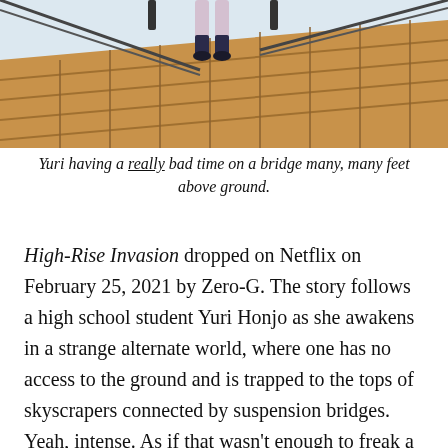[Figure (illustration): Anime screenshot of a character (Yuri) on a wooden suspension bridge high above the ground, with ropes and planks visible. The character appears to be in distress or struggling on the bridge.]
Yuri having a really bad time on a bridge many, many feet above ground.
High-Rise Invasion dropped on Netflix on February 25, 2021 by Zero-G. The story follows a high school student Yuri Honjo as she awakens in a strange alternate world, where one has no access to the ground and is trapped to the tops of skyscrapers connected by suspension bridges. Yeah, intense. As if that wasn't enough to freak a kid out, she quickly learns that she and other humans are being attacked by Masks, or people